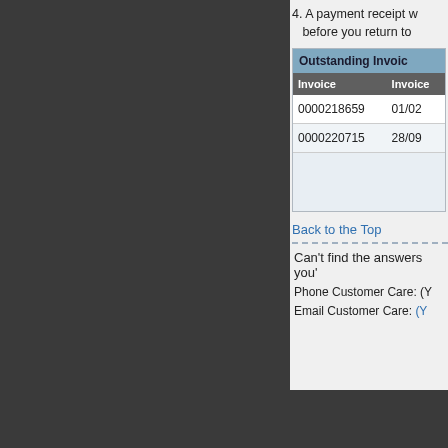4. A payment receipt w... before you return to...
| Outstanding Invoic... | Invoice | Invoice... |
| --- | --- | --- |
| 0000218659 | 01/02... |
| 0000220715 | 28/09... |
|  |  |
Back to the Top
Can't find the answers you'...
Phone Customer Care: (Y...
Email Customer Care: (Y...